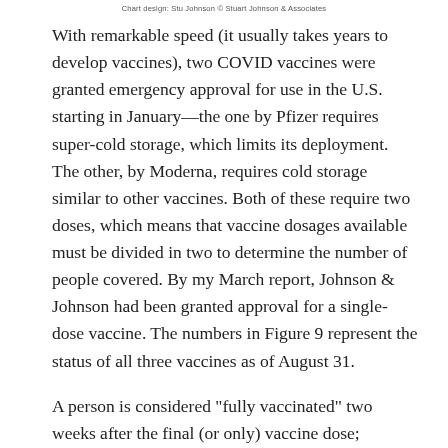Chart design: Stu Johnson © Stuart Johnson & Associates
With remarkable speed (it usually takes years to develop vaccines), two COVID vaccines were granted emergency approval for use in the U.S. starting in January—the one by Pfizer requires super-cold storage, which limits its deployment. The other, by Moderna, requires cold storage similar to other vaccines. Both of these require two doses, which means that vaccine dosages available must be divided in two to determine the number of people covered. By my March report, Johnson & Johnson had been granted approval for a single-dose vaccine. The numbers in Figure 9 represent the status of all three vaccines as of August 31.
A person is considered "fully vaccinated" two weeks after the final (or only) vaccine dose; roughly five to six weeks total for Pfizer and Moderna and two weeks for Johnson & Johnson.
Each one (still as reported in March 2021) the